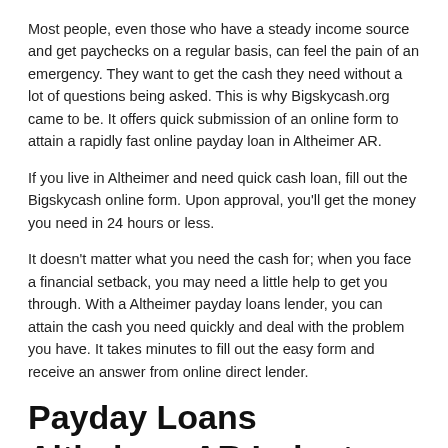Most people, even those who have a steady income source and get paychecks on a regular basis, can feel the pain of an emergency. They want to get the cash they need without a lot of questions being asked. This is why Bigskycash.org came to be. It offers quick submission of an online form to attain a rapidly fast online payday loan in Altheimer AR.
If you live in Altheimer and need quick cash loan, fill out the Bigskycash online form. Upon approval, you'll get the money you need in 24 hours or less.
It doesn't matter what you need the cash for; when you face a financial setback, you may need a little help to get you through. With a Altheimer payday loans lender, you can attain the cash you need quickly and deal with the problem you have. It takes minutes to fill out the easy form and receive an answer from online direct lender.
Payday Loans Altheimer AR Industry
When it comes to the cash-lending industry in Altheimer, you need to deal with a loan lender you trust. Bigskycash can help